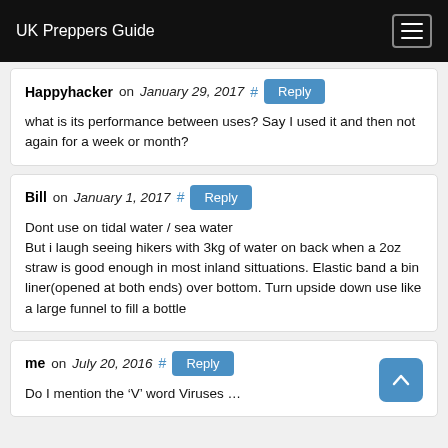UK Preppers Guide
Happyhacker on January 29, 2017 # Reply
what is its performance between uses? Say I used it and then not again for a week or month?
Bill on January 1, 2017 # Reply
Dont use on tidal water / sea water
But i laugh seeing hikers with 3kg of water on back when a 2oz straw is good enough in most inland sittuations. Elastic band a bin liner(opened at both ends) over bottom. Turn upside down use like a large funnel to fill a bottle
me on July 20, 2016 # Reply
Do I mention the ‘V’ word Viruses …